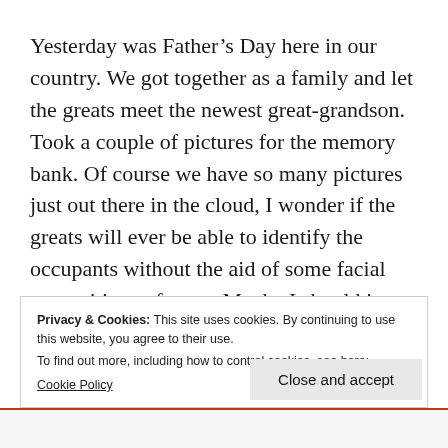Yesterday was Father's Day here in our country. We got together as a family and let the greats meet the newest great-grandson. Took a couple of pictures for the memory bank. Of course we have so many pictures just out there in the cloud, I wonder if the greats will ever be able to identify the occupants without the aid of some facial recognition software. Maybe I should just keep those albums of my cousin and her grandchildren.
Today I was trying to call for a haircut for the day. The...
Privacy & Cookies: This site uses cookies. By continuing to use this website, you agree to their use.
To find out more, including how to control cookies, see here:
Cookie Policy
Close and accept